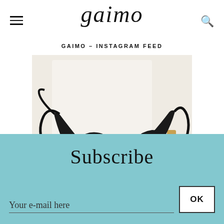gaimo
GAIMO – INSTAGRAM FEED
[Figure (photo): A pair of black and white espadrille sandals with braided platform soles and black tie straps, displayed on a white fabric background]
Subscribe
Your e-mail here
OK